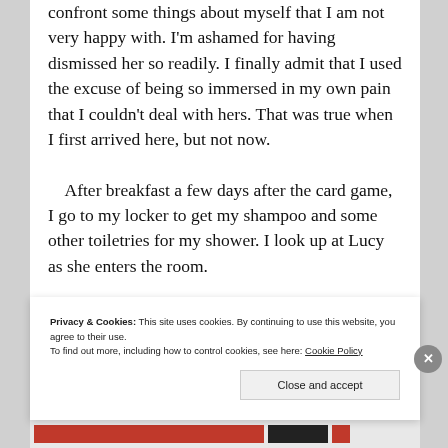confront some things about myself that I am not very happy with. I'm ashamed for having dismissed her so readily. I finally admit that I used the excuse of being so immersed in my own pain that I couldn't deal with hers. That was true when I first arrived here, but not now.
    After breakfast a few days after the card game, I go to my locker to get my shampoo and some other toiletries for my shower. I look up at Lucy as she enters the room.
    “Good morning Lucy. How’d you sleep?” I
Privacy & Cookies: This site uses cookies. By continuing to use this website, you agree to their use.
To find out more, including how to control cookies, see here: Cookie Policy
Close and accept